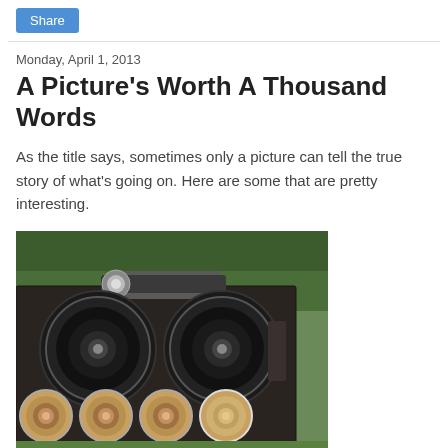Share
Monday, April 1, 2013
A Picture's Worth A Thousand Words
As the title says, sometimes only a picture can tell the true story of what's going on. Here are some that are pretty interesting.
[Figure (photo): A large black speaker cabinet with multiple speakers arranged in rows, photographed outdoors with green foliage in the background. The cabinet has two large woofers in the upper section and four smaller speakers in the lower section, with a cylindrical object on top.]